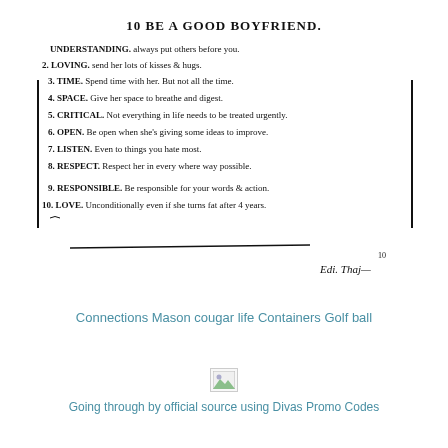[Figure (photo): Handwritten list titled '10 BE A GOOD BOYFRIEND.' with 10 numbered items about relationship advice, signed at the bottom.]
Connections Mason cougar life Containers Golf ball
[Figure (photo): Broken/missing image placeholder icon]
Going through by official source using Divas Promo Codes